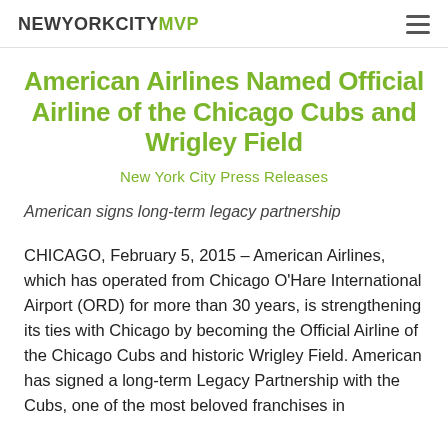NEWYORKCITYMVP
American Airlines Named Official Airline of the Chicago Cubs and Wrigley Field
New York City Press Releases
American signs long-term legacy partnership
CHICAGO, February 5, 2015 – American Airlines, which has operated from Chicago O'Hare International Airport (ORD) for more than 30 years, is strengthening its ties with Chicago by becoming the Official Airline of the Chicago Cubs and historic Wrigley Field. American has signed a long-term Legacy Partnership with the Cubs, one of the most beloved franchises in